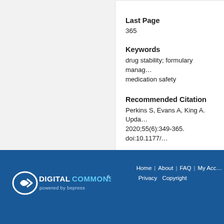Last Page
365
Keywords
drug stability; formulary management; medication safety
Recommended Citation
Perkins S, Evans A, King A. Upda… 2020;55(6):349-365. doi:10.1177/…
[Figure (logo): Digital Commons powered by bepress logo in white on blue background]
Home | About | FAQ | My Account | Privacy | Copyright